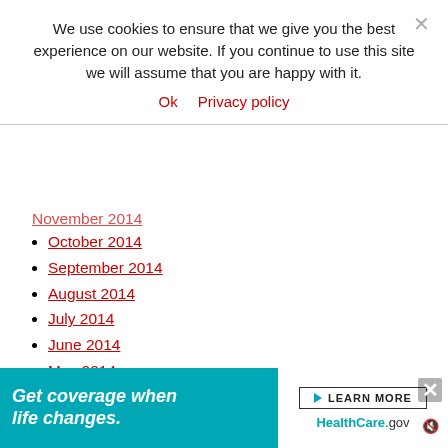We use cookies to ensure that we give you the best experience on our website. If you continue to use this site we will assume that you are happy with it.
Ok   Privacy policy
November 2014
October 2014
September 2014
August 2014
July 2014
June 2014
May 2014
April 2014
March 2014
February 2014
January 2014
November 2013
October 2013
September 2013
July 2013
[Figure (infographic): Advertisement banner: Get coverage when life changes. Learn More. HealthCare.gov]